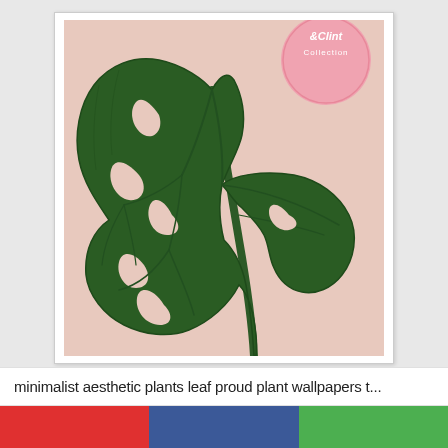[Figure (illustration): A monstera/tropical leaf (large dark green split leaf) on a blush pink background, with a circular pink badge in the top right corner reading '&Clint Collection']
minimalist aesthetic plants leaf proud plant wallpapers t...